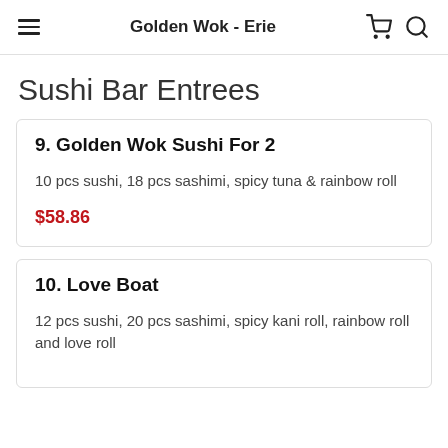Golden Wok - Erie
Sushi Bar Entrees
9. Golden Wok Sushi For 2
10 pcs sushi, 18 pcs sashimi, spicy tuna & rainbow roll
$58.86
10. Love Boat
12 pcs sushi, 20 pcs sashimi, spicy kani roll, rainbow roll and love roll